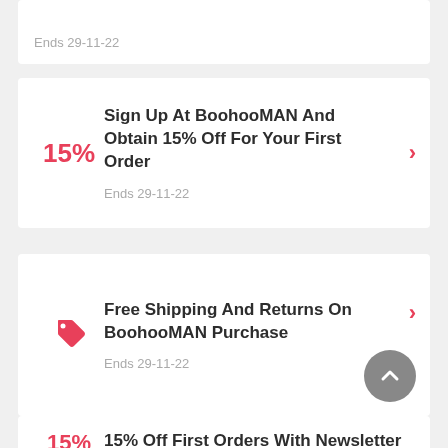Ends 29-11-22
Sign Up At BoohooMAN And Obtain 15% Off For Your First Order
Ends 29-11-22
Free Shipping And Returns On BoohooMAN Purchase
Ends 29-11-22
15% Off First Orders With Newsletter Sign-ups At